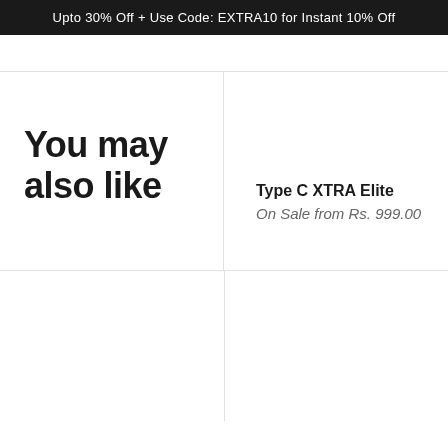Upto 30% Off + Use Code: EXTRA10 for Instant 10% Off
You may also like
Type C XTRA Elite
On Sale from Rs. 999.00